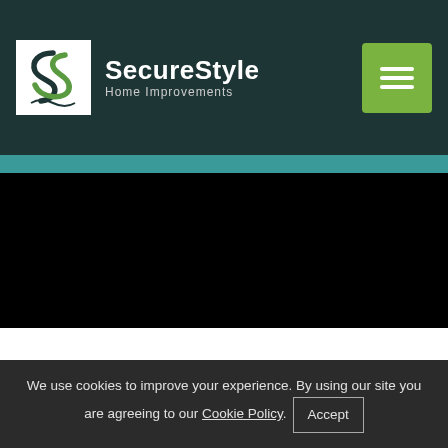SecureStyle Home Improvements
[Figure (screenshot): Black video player area]
VIEW ALL VIDEOS
We use cookies to improve your experience. By using our site you are agreeing to our Cookie Policy. Accept